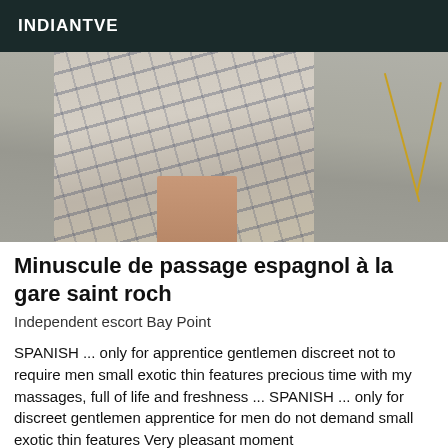INDIANTVE
[Figure (photo): Person wearing a plaid skirt standing on a parking lot / street surface with yellow road markings visible in the background.]
Minuscule de passage espagnol à la gare saint roch
Independent escort Bay Point
SPANISH ... only for apprentice gentlemen discreet not to require men small exotic thin features precious time with my massages, full of life and freshness ... SPANISH ... only for discreet gentlemen apprentice for men do not demand small exotic thin features Very pleasant moment